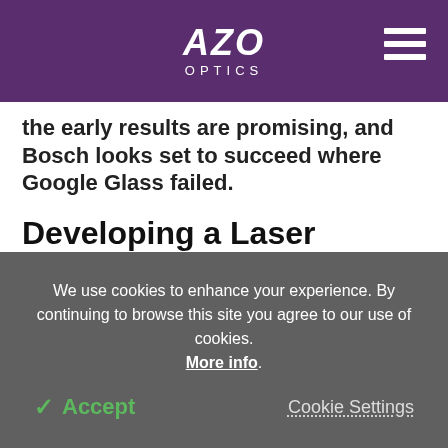AZO OPTICS
the early results are promising, and Bosch looks set to succeed where Google Glass failed.
Developing a Laser System to Paint Images onto the Retina
Scientists at Bosch have developed an innovative way to display information to the users wearing the
We use cookies to enhance your experience. By continuing to browse this site you agree to our use of cookies. More info.
✓ Accept
Cookie Settings